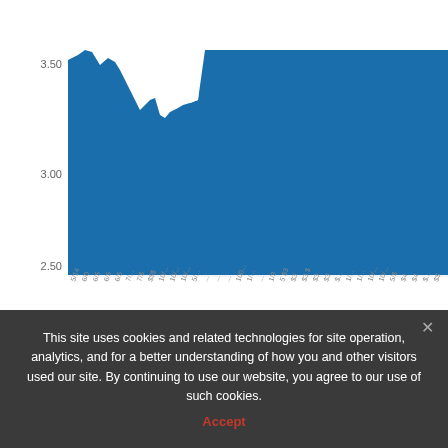[Figure (continuous-plot): Area chart showing a financial time series (likely a stock or rate). Y-axis ranges from approximately 2.50 to above 3.50. The chart shows a large blue filled area. Near the left/early portion there is a prominent dip in the upper boundary (white cutout region) suggesting values fell sharply then recovered. The x-axis has many dense date/tick labels rotated at an angle.]
This site uses cookies and related technologies for site operation, analytics, and for a better understanding of how you and other visitors used our site. By continuing to use our website, you agree to our use of such cookies.
Accept